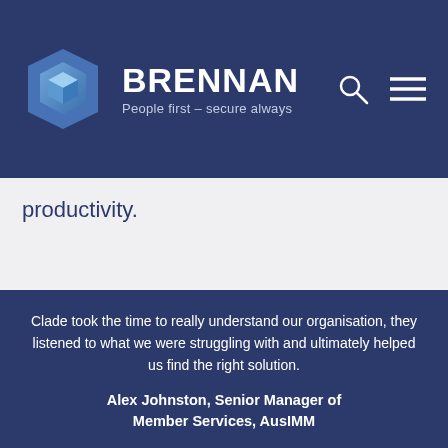[Figure (logo): Brennan IT logo with blue hexagon icon and text 'BRENNAN People first – secure always' on dark navy background, with search and menu icons on the right]
productivity.
Clade took the time to really understand our organisation, they listened to what we were struggling with and ultimately helped us find the right solution.
Alex Johnston, Senior Manager of Member Services, AusIMM